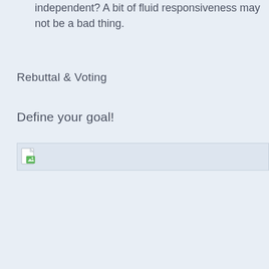independent? A bit of fluid responsiveness may not be a bad thing.
Rebuttal & Voting
Define your goal!
[Figure (illustration): A partially loaded or broken image placeholder icon (document with a green image icon) at the top-left of a light-bordered box spanning the width of the content area.]